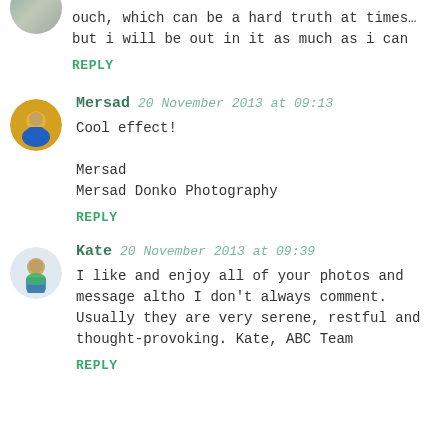ouch, which can be a hard truth at times… but i will be out in it as much as i can
REPLY
[Figure (photo): Avatar photo of Mersad, man in blue jacket]
Mersad  20 November 2013 at 09:13
Cool effect!

Mersad
Mersad Donko Photography
REPLY
[Figure (photo): Avatar photo of Kate, person with green mask]
Kate  20 November 2013 at 09:39
I like and enjoy all of your photos and message altho I don't always comment. Usually they are very serene, restful and thought-provoking. Kate, ABC Team
REPLY